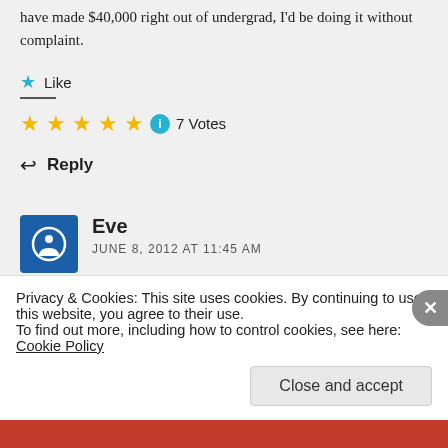have made $40,000 right out of undergrad, I'd be doing it without complaint.
★ Like
★★★★★ ℹ 7 Votes
↩ Reply
Eve
JUNE 8, 2012 AT 11:45 AM
My friend went to college for a semester and is
Privacy & Cookies: This site uses cookies. By continuing to use this website, you agree to their use.
To find out more, including how to control cookies, see here: Cookie Policy
Close and accept